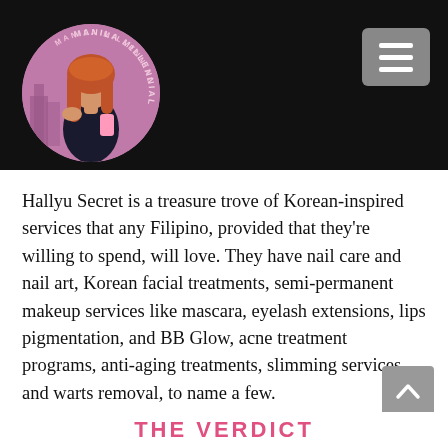[Figure (logo): Manila Millennial blog header with circular logo showing illustrated red-haired woman holding a phone against purple background with cityscape, and hamburger menu button on dark black header bar]
Hallyu Secret is a treasure trove of Korean-inspired services that any Filipino, provided that they’re willing to spend, will love. They have nail care and nail art, Korean facial treatments, semi-permanent makeup services like mascara, eyelash extensions, lips pigmentation, and BB Glow, acne treatment programs, anti-aging treatments, slimming services, and warts removal, to name a few.
THE VERDICT